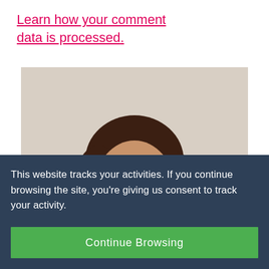Learn how your comment data is processed.
[Figure (photo): Portrait photo of a woman with brown hair, green eyes, and pink lipstick, smiling against a light beige background, wearing green earrings.]
This website tracks your activities. If you continue browsing the site, you're giving us consent to track your activity.
Continue Browsing